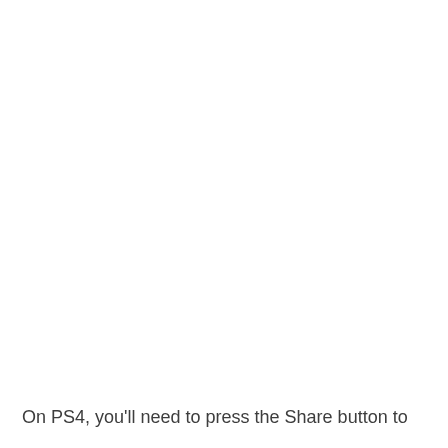On PS4, you'll need to press the Share button to